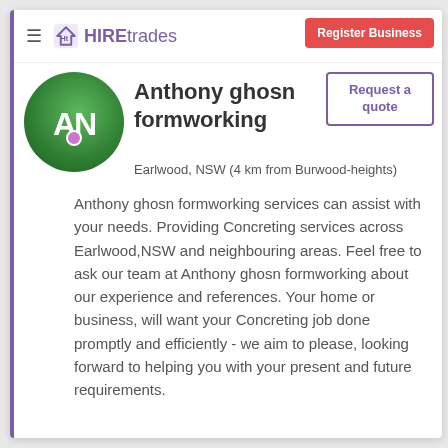HIREtrades | Register Business | Request a quote
[Figure (logo): HIREtrades logo with house icon and purple text]
Anthony ghosn formworking
Earlwood, NSW (4 km from Burwood-heights)
Anthony ghosn formworking services can assist with your needs. Providing Concreting services across Earlwood,NSW and neighbouring areas. Feel free to ask our team at Anthony ghosn formworking about our experience and references. Your home or business, will want your Concreting job done promptly and efficiently - we aim to please, looking forward to helping you with your present and future requirements.